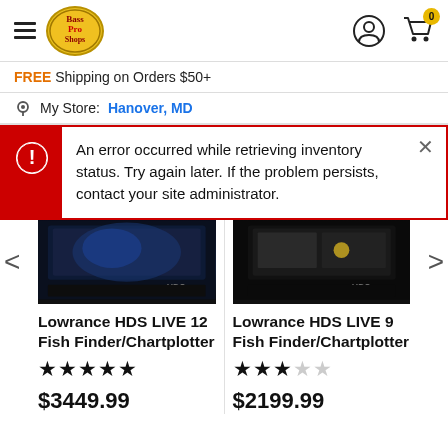[Figure (logo): Bass Pro Shops logo in yellow oval with hamburger menu icon on left]
FREE Shipping on Orders $50+
My Store: Hanover, MD
An error occurred while retrieving inventory status. Try again later. If the problem persists, contact your site administrator.
[Figure (photo): Lowrance HDS LIVE 12 fish finder/chartplotter device top portion]
[Figure (photo): Lowrance HDS LIVE 9 fish finder/chartplotter device top portion]
Lowrance HDS LIVE 12 Fish Finder/Chartplotter
Lowrance HDS LIVE 9 Fish Finder/Chartplotter
★★★★★
★★★☆☆
$3449.99
$2199.99